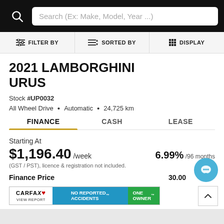Search (Ex: Make, Model, Year ...)
FILTER BY   SORTED BY   DISPLAY
2021 LAMBORGHINI URUS
Stock #UP0032
All Wheel Drive • Automatic • 24,725 km
FINANCE   CASH   LEASE
Starting At
$1,196.40 /week   6.99% /96 months
(GST / PST), licence & registration not included.
Finance Price
80.00
[Figure (logo): CARFAX Canada logo with NO REPORTED ACCIDENTS and ONE OWNER badges]